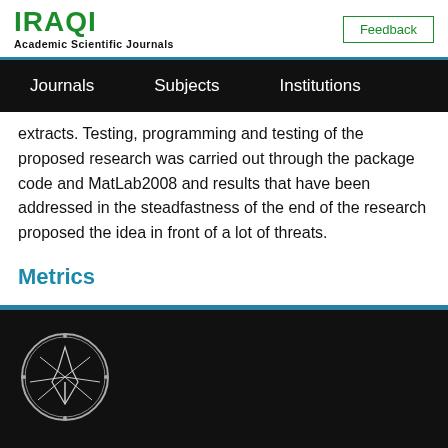IRAQI Academic Scientific Journals
Feedback
Journals   Subjects   Institutions
extracts. Testing, programming and testing of the proposed research was carried out through the package code and MatLab2008 and results that have been addressed in the steadfastness of the end of the research proposed the idea in front of a lot of threats.
Metrics
[Figure (logo): Circular institutional emblem/seal with Arabic text and a torch/flame graphic, white on black background]